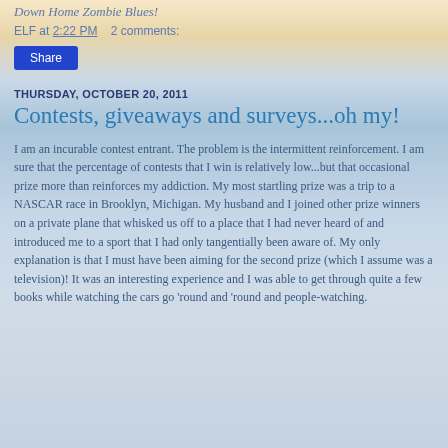Down Home Zombie Blues!
ELF at 2:22 PM    2 comments:
Share
THURSDAY, OCTOBER 20, 2011
Contests, giveaways and surveys...oh my!
I am an incurable contest entrant.  The problem is the intermittent reinforcement.  I am sure that the percentage of contests that I win is relatively low...but that occasional prize more than reinforces my addiction.  My most startling prize was a trip to a NASCAR race in Brooklyn, Michigan.  My husband and I joined other prize winners on a private plane that whisked us off to a place that I had never heard of and introduced me to a sport that I had only tangentially been aware of.  My only explanation is that I must have been aiming for the second prize (which I assume was a television)!  It was an interesting experience and I was able to get through quite a few books while watching the cars go 'round and 'round and people-watching.